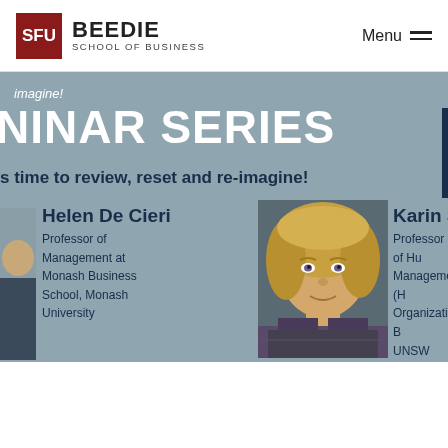[Figure (logo): SFU Beedie School of Business logo with red SFU box and BEEDIE text]
Menu
imagine!
NINAR SERIES
s time to review, reset and re-imagine!
[Figure (photo): Partial photo of a person on the left edge]
Helen De Cieri
Professor of Management at Monash Business School, Monash University
[Figure (photo): Photo of Karin Sanderson, a woman with blonde hair]
Karin Sand
Professor of Hu Management (H Organizational B UNSW Business Sydney